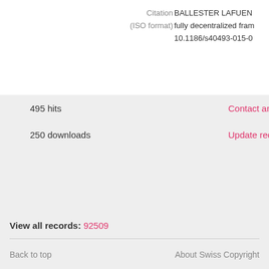Citation (ISO format)  BALLESTER LAFUENT... fully decentralized fram... 10.1186/s40493-015-0...
495 hits
Contact an a
250 downloads
Update requ
Export document
Format : HTML citation
Citation style : APA 6th - America
Send
View all records: 92509
Back to top
About Swiss Copyright